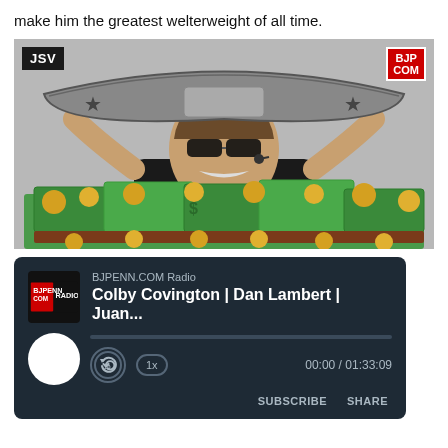make him the greatest welterweight of all time.
[Figure (photo): Meme image showing a man holding up a large championship belt, with a pile of cartoon money (green bills and gold coins) in the foreground. JSV badge in top-left corner, BJP.COM badge in top-right corner. Background includes partial text 'Sy'.]
[Figure (screenshot): BJPENN.COM Radio media player widget with dark background. Shows logo, station name 'BJPENN.COM Radio', episode title 'Colby Covington | Dan Lambert | Juan...', progress bar, replay 10 button, 1x speed button, time 00:00 / 01:33:09, SUBSCRIBE and SHARE buttons.]